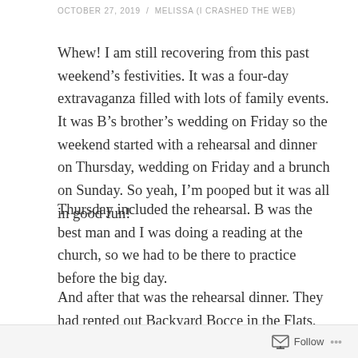OCTOBER 27, 2019 / MELISSA (I CRASHED THE WEB)
Whew! I am still recovering from this past weekend’s festivities. It was a four-day extravaganza filled with lots of family events. It was B’s brother’s wedding on Friday so the weekend started with a rehearsal and dinner on Thursday, wedding on Friday and a brunch on Sunday. So yeah, I’m pooped but it was all in good fun!
Thursday included the rehearsal. B was the best man and I was doing a reading at the church, so we had to be there to practice before the big day.
And after that was the rehearsal dinner. They had rented out Backyard Bocce in the Flats, which was perfect — they have great food AND enough space (and activities)
Follow